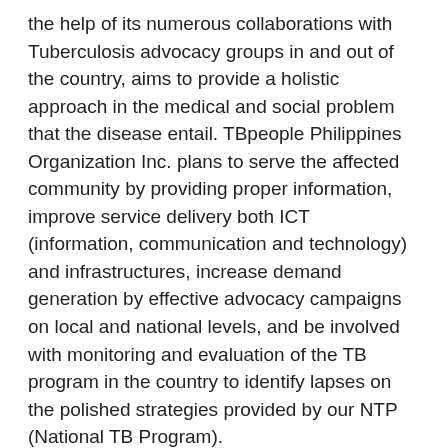the help of its numerous collaborations with Tuberculosis advocacy groups in and out of the country, aims to provide a holistic approach in the medical and social problem that the disease entail. TBpeople Philippines Organization Inc. plans to serve the affected community by providing proper information, improve service delivery both ICT (information, communication and technology) and infrastructures, increase demand generation by effective advocacy campaigns on local and national levels, and be involved with monitoring and evaluation of the TB program in the country to identify lapses on the polished strategies provided by our NTP (National TB Program).
Our mission is to fix the stigma associated with the communicable disease and lessen the negative experiences due to discrimination faced by our Persons treating TB and our increasing champion survivors. TBpeople Philippines Organization Inc. will